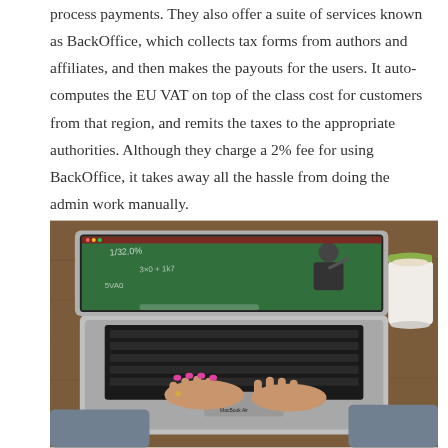process payments. They also offer a suite of services known as BackOffice, which collects tax forms from authors and affiliates, and then makes the payouts for the users. It auto-computes the EU VAT on top of the class cost for customers from that region, and remits the taxes to the appropriate authorities. Although they charge a 2% fee for using BackOffice, it takes away all the hassle from doing the admin work manually.
[Figure (photo): A person typing on a MacBook Air laptop placed on a wooden table. The laptop screen shows a video of a teacher writing on a chalkboard. A white cup with a green lid is placed to the right of the laptop.]